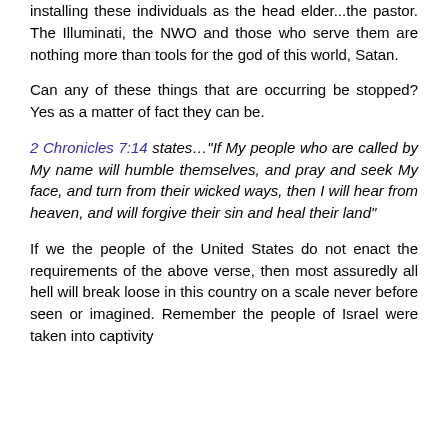installing these individuals as the head elder...the pastor. The Illuminati, the NWO and those who serve them are nothing more than tools for the god of this world, Satan.
Can any of these things that are occurring be stopped? Yes as a matter of fact they can be.
2 Chronicles 7:14 states..."If My people who are called by My name will humble themselves, and pray and seek My face, and turn from their wicked ways, then I will hear from heaven, and will forgive their sin and heal their land"
If we the people of the United States do not enact the requirements of the above verse, then most assuredly all hell will break loose in this country on a scale never before seen or imagined. Remember the people of Israel were taken into captivity